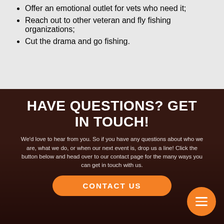Offer an emotional outlet for vets who need it;
Reach out to other veteran and fly fishing organizations;
Cut the drama and go fishing.
HAVE QUESTIONS? GET IN TOUCH!
We'd love to hear from you. So if you have any questions about who we are, what we do, or when our next event is, drop us a line! Click the button below and head over to our contact page for the many ways you can get in touch with us.
CONTACT US